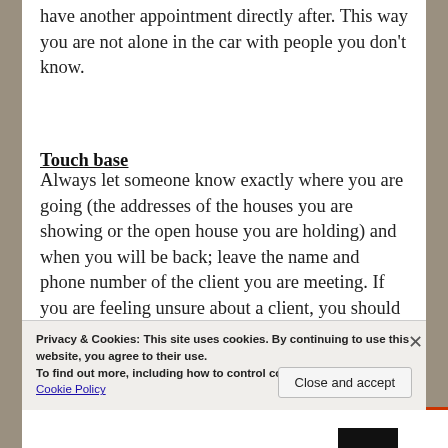have another appointment directly after. This way you are not alone in the car with people you don't know.
Touch base
Always let someone know exactly where you are going (the addresses of the houses you are showing or the open house you are holding) and when you will be back; leave the name and phone number of the client you are meeting. If you are feeling unsure about a client, you should schedule a time for your office or spouse to call you to check-in. Still feeling weary? Have another agent or even
Privacy & Cookies: This site uses cookies. By continuing to use this website, you agree to their use. To find out more, including how to control cookies, see here: Cookie Policy
Close and accept